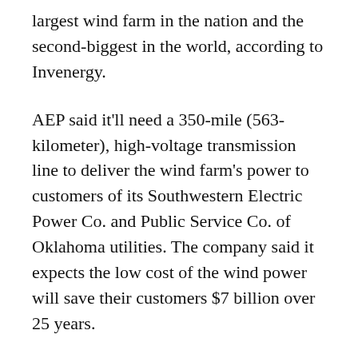largest wind farm in the nation and the second-biggest in the world, according to Invenergy.
AEP said it'll need a 350-mile (563-kilometer), high-voltage transmission line to deliver the wind farm's power to customers of its Southwestern Electric Power Co. and Public Service Co. of Oklahoma utilities. The company said it expects the low cost of the wind power will save their customers $7 billion over 25 years.
Southwestern Electric will own 70 percent of the project and power supplies, and Public Service of Oklahoma will get the rest.